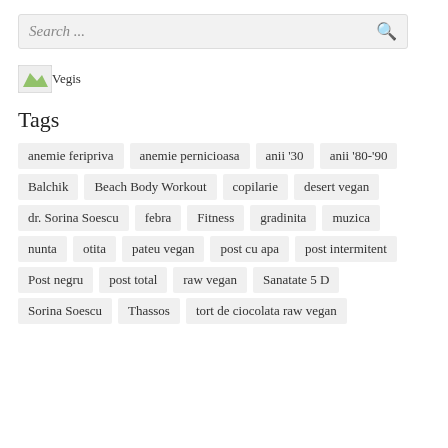Search ...
[Figure (logo): Vegis logo image]
Tags
anemie feripriva
anemie pernicioasa
anii '30
anii '80-'90
Balchik
Beach Body Workout
copilarie
desert vegan
dr. Sorina Soescu
febra
Fitness
gradinita
muzica
nunta
otita
pateu vegan
post cu apa
post intermitent
Post negru
post total
raw vegan
Sanatate 5 D
Sorina Soescu
Thassos
tort de ciocolata raw vegan